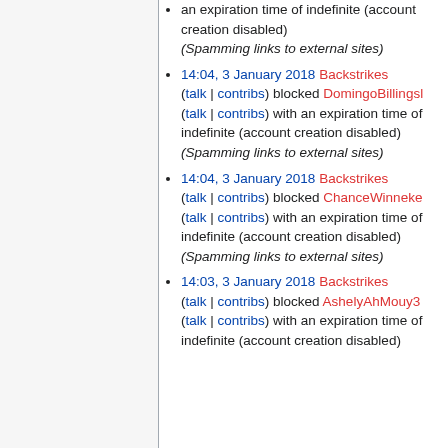an expiration time of indefinite (account creation disabled) (Spamming links to external sites)
14:04, 3 January 2018 Backstrikes (talk | contribs) blocked DomingoBillingsl (talk | contribs) with an expiration time of indefinite (account creation disabled) (Spamming links to external sites)
14:04, 3 January 2018 Backstrikes (talk | contribs) blocked ChanceWinneke (talk | contribs) with an expiration time of indefinite (account creation disabled) (Spamming links to external sites)
14:03, 3 January 2018 Backstrikes (talk | contribs) blocked AshelyAhMouy3 (talk | contribs) with an expiration time of indefinite (account creation disabled)